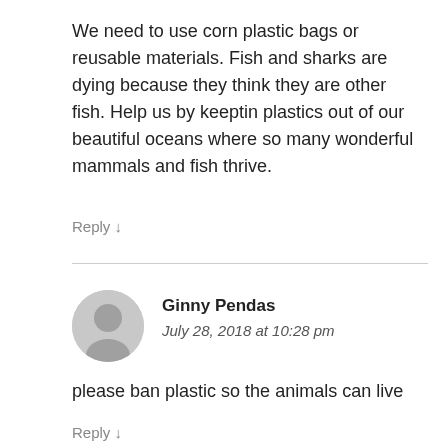We need to use corn plastic bags or reusable materials. Fish and sharks are dying because they think they are other fish. Help us by keeptin plastics out of our beautiful oceans where so many wonderful mammals and fish thrive.
Reply ↓
Ginny Pendas
July 28, 2018 at 10:28 pm
please ban plastic so the animals can live
Reply ↓
David Bailey